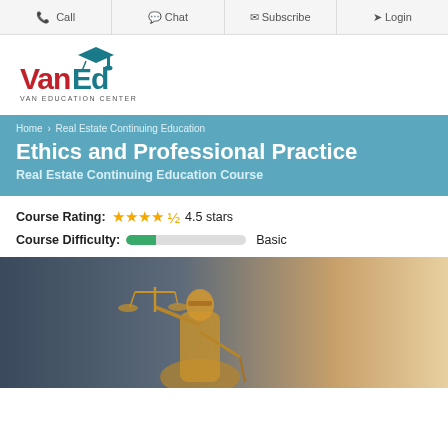Call | Chat | Subscribe | Login
[Figure (logo): VanEd - Van Education Center logo with graduation cap]
Home > Real Estate Continuing Education
Ethics and Professional Practice
Real Estate Continuing Education Course
Course Rating: 4.5 stars
Course Difficulty: Basic
[Figure (photo): Lady Justice statue holding scales, golden bronze color against warm background]